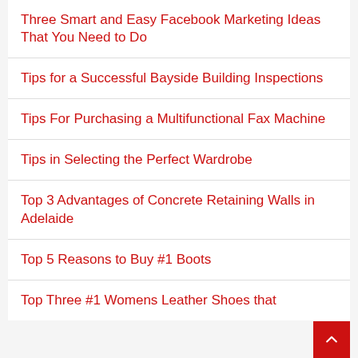Three Smart and Easy Facebook Marketing Ideas That You Need to Do
Tips for a Successful Bayside Building Inspections
Tips For Purchasing a Multifunctional Fax Machine
Tips in Selecting the Perfect Wardrobe
Top 3 Advantages of Concrete Retaining Walls in Adelaide
Top 5 Reasons to Buy #1 Boots
Top Three #1 Womens Leather Shoes that